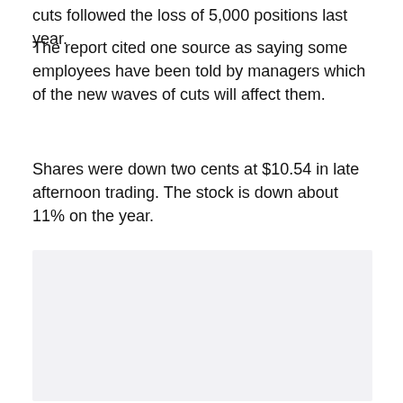cuts followed the loss of 5,000 positions last year.
The report cited one source as saying some employees have been told by managers which of the new waves of cuts will affect them.
Shares were down two cents at $10.54 in late afternoon trading. The stock is down about 11% on the year.
[Figure (other): Light gray placeholder box, no content visible]